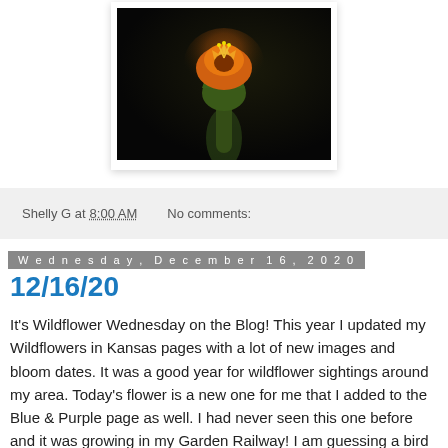[Figure (photo): Close-up photograph of an orange and yellow flower bud against a dark background, displayed in a white-framed photo card]
Shelly G at 8:00 AM   No comments:
Wednesday, December 16, 2020
12/16/20
It's Wildflower Wednesday on the Blog!  This year I updated my Wildflowers in Kansas pages with a lot of new images and bloom dates.  It was a good year for wildflower sightings around my area.  Today's flower is a new one for me that I added to the Blue & Purple page as well.  I had never seen this one before and it was growing in my Garden Railway!  I am guessing a bird must have brought it in somehow.  This is Ivy Leaf Morning Glory and I love